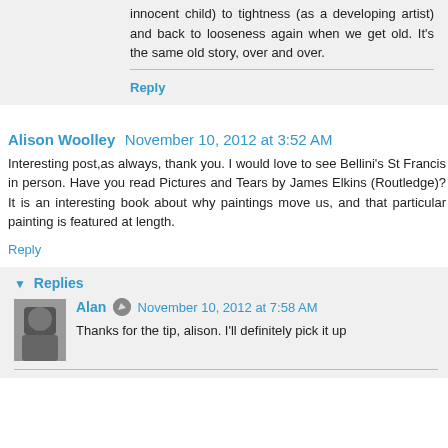innocent child) to tightness (as a developing artist) and back to looseness again when we get old. It's the same old story, over and over.
Reply
Alison Woolley  November 10, 2012 at 3:52 AM
Interesting post,as always, thank you. I would love to see Bellini's St Francis in person. Have you read Pictures and Tears by James Elkins (Routledge)? It is an interesting book about why paintings move us, and that particular painting is featured at length.
Reply
Replies
Alan  November 10, 2012 at 7:58 AM
Thanks for the tip, alison. I'll definitely pick it up